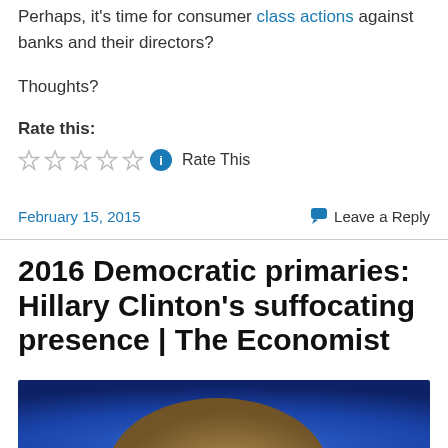Perhaps, it's time for consumer class actions against banks and their directors?
Thoughts?
Rate this:
[Figure (other): Five empty star rating icons followed by a blue info circle icon and 'Rate This' text]
February 15, 2015
Leave a Reply
2016 Democratic primaries: Hillary Clinton's suffocating presence | The Economist
[Figure (photo): Partial photo of a person against a blue background, only top of head/hair visible at bottom of page]